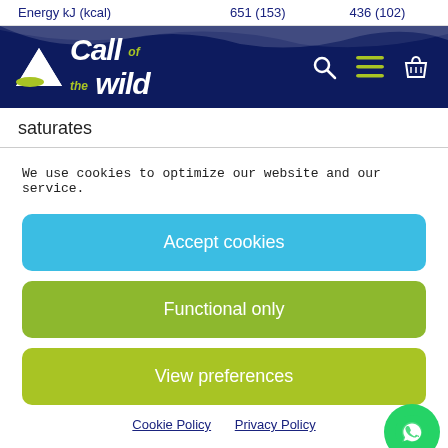| Energy kJ (kcal) | 651 (153) | 436 (102) |
[Figure (logo): Call of the Wild logo on dark navy navigation header with search, menu, and basket icons]
saturates
We use cookies to optimize our website and our service.
Accept cookies
Functional only
View preferences
Cookie Policy   Privacy Policy